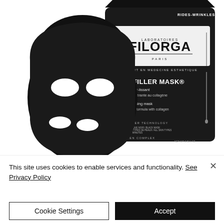[Figure (photo): Product photo of Filorga TIME-FILLER MASK black sheet mask packet and the black face mask laid in front of it, on a white background. The packet reads: LABORATOIRES FILORGA PARIS, EXPERT EN MEDECINE ESTHETIQUE, TIME-FILLER MASK, Masque super-lissant, Formule régénérante au collagène, Super-smoothing mask, Regenerating formula with collagen, BLACK FIBER TECHNOLOGY, MASQUE NOIR / BLACK MASK, TOUS TYPES DE PEAUX / ALL SKIN TYPES, 10-15 MINUTES, COLLAGEN COMPLEX, RIDES-WRINKLES, NET WT 0.811 OZ]
This site uses cookies to enable services and functionality. See Privacy Policy
Cookie Settings
Accept